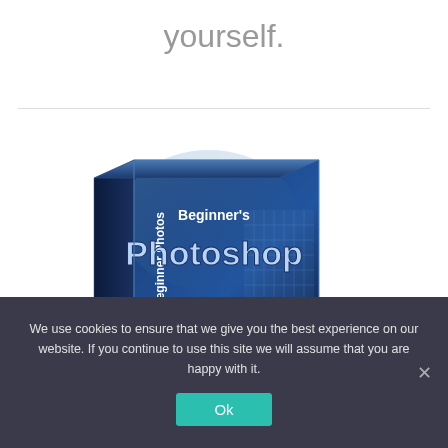yourself.
[Figure (photo): Product box image for Beginner's Photoshop course, showing a blue 3D software box with the text 'Beginner's Photoshop' and an image of a building on the front, with 'Beginner Photos' on the spine.]
We use cookies to ensure that we give you the best experience on our website. If you continue to use this site we will assume that you are happy with it.
Ok